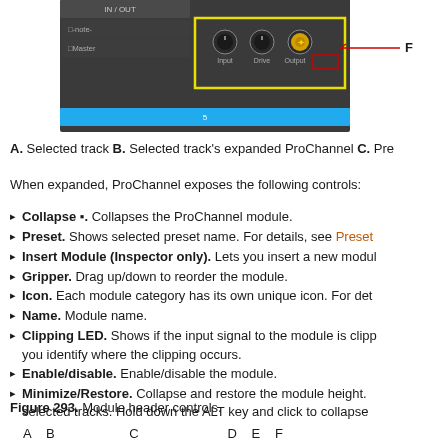[Figure (screenshot): Screenshot of ProChannel interface showing IN/OUT area with knobs for Input, Drive, Output, and a yellow highlighted section. Letter F labeled with red arrow pointing to the highlighted region. Blue bar at bottom labeled 5.]
A. Selected track B. Selected track's expanded ProChannel C. Pre
When expanded, ProChannel exposes the following controls:
Collapse [icon]. Collapses the ProChannel module.
Preset. Shows selected preset name. For details, see Preset
Insert Module (Inspector only). Lets you insert a new modul
Gripper. Drag up/down to reorder the module.
Icon. Each module category has its own unique icon. For det
Name. Module name.
Clipping LED. Shows if the input signal to the module is clipp you identify where the clipping occurs.
Enable/disable. Enable/disable the module.
Minimize/Restore. Collapse and restore the module height. selected tracks. Hold down the ALT key and click to collapse
Figure 293. Module header controls.
A   B                  C                  D  E  F